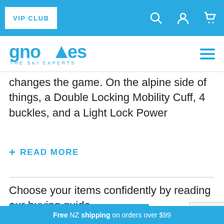VIP CLUB
[Figure (logo): Gnomes The Ski Experts logo in blue]
changes the game. On the alpine side of things, a Double Locking Mobility Cuff, 4 buckles, and a Light Lock Power
+ READ MORE
Choose your items confidently by reading our buying guide.
Free NZ shipping on orders over $99